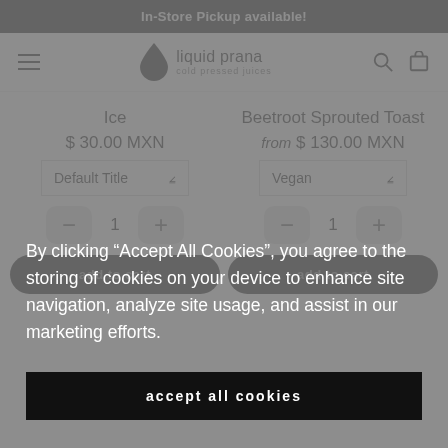In-Store Pickup available!
[Figure (logo): Liquid Prana cold pressed juices logo with droplet icon]
Ice
$ 30.00 MXN
Default Title
1
add to cart
Beetroot Sprouted Toast
from $ 130.00 MXN
Vegan
1
add to cart
By clicking “Accept All Cookies”, you agree to the storing of cookies on your device to enhance site navigation, analyze site usage, and assist in our marketing efforts.
accept all cookies